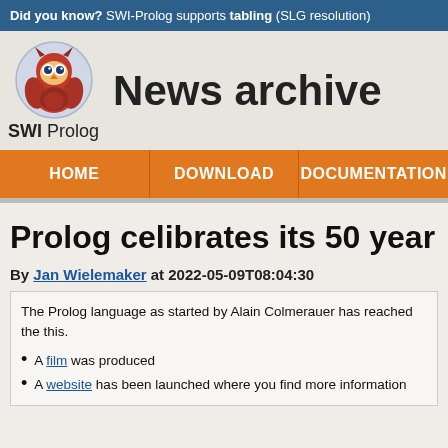Did you know? SWI-Prolog supports tabling (SLG resolution)
[Figure (logo): SWI-Prolog owl logo with text 'SWI Prolog']
News archive
HOME | DOWNLOAD | DOCUMENTATION
Prolog celibrates its 50 year a
By Jan Wielemaker at 2022-05-09T08:04:30
The Prolog language as started by Alain Colmerauer has reached the this.
A film was produced
A website has been launched where you find more information